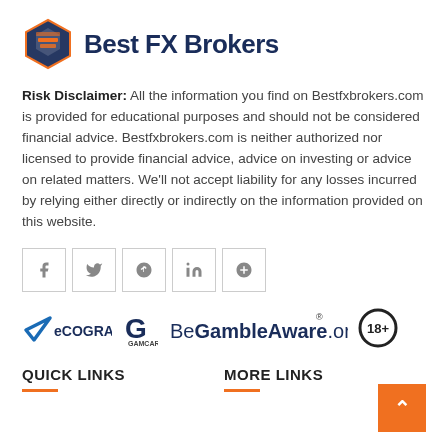[Figure (logo): Best FX Brokers logo with hexagonal orange and blue icon and bold dark blue text]
Risk Disclaimer: All the information you find on Bestfxbrokers.com is provided for educational purposes and should not be considered financial advice. Bestfxbrokers.com is neither authorized nor licensed to provide financial advice, advice on investing or advice on related matters. We'll not accept liability for any losses incurred by relying either directly or indirectly on the information provided on this website.
[Figure (infographic): Social media share buttons: Facebook, Twitter, Pinterest, LinkedIn, Google+]
[Figure (logo): Trust logos: eCOGRA, GamCare, BeGambleAware.org, 18+ circle]
QUICK LINKS
MORE LINKS